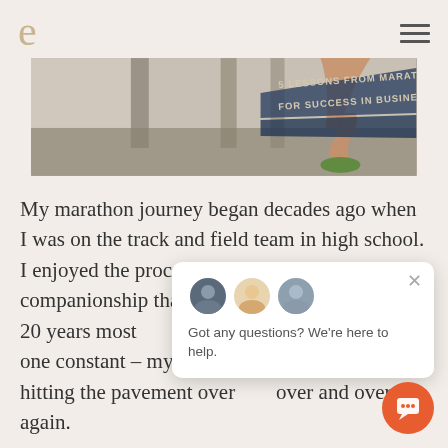e
[Figure (photo): Runner's legs on pavement with overlay text: 5 LESSONS FROM MARATHON TRAINING FOR SUCCESS IN BUSINESS AND LIFE]
My marathon journey began decades ago when I was on the track and field team in high school. I enjoyed the process, the challenge and the companionship that came with it. Over the next 20 years most of that faded away. But there was one constant – my love of the sound of my feet hitting the pavement over and over and over again.
[Figure (screenshot): Chat popup widget with avatars and text: Got any questions? We're here to help.]